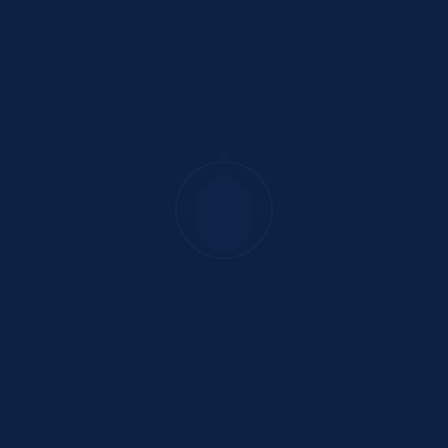[Figure (illustration): Dark navy blue cover page with a very faint, barely visible watermark or emblem centered slightly above the middle of the page. The background is a deep navy blue (#0d2145) filling the entire page. A subtle circular emblem or logo mark is faintly visible in the center area, rendered in a slightly lighter shade of the same navy blue, making it nearly imperceptible against the background.]